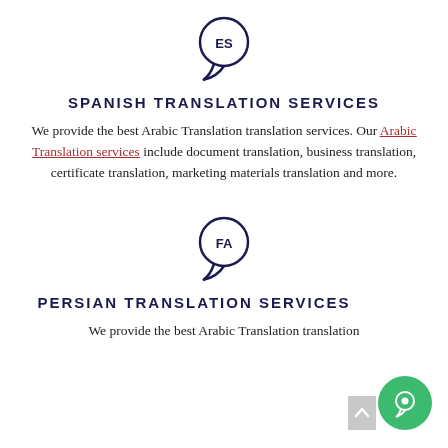[Figure (illustration): Speech bubble icon with 'ES' text inside, representing Spanish language]
SPANISH TRANSLATION SERVICES
We provide the best Arabic Translation translation services. Our Arabic Translation services include document translation, business translation, certificate translation, marketing materials translation and more.
[Figure (illustration): Speech bubble icon with 'FA' text inside, representing Farsi/Persian language]
PERSIAN TRANSLATION SERVICES
We provide the best Arabic Translation translation